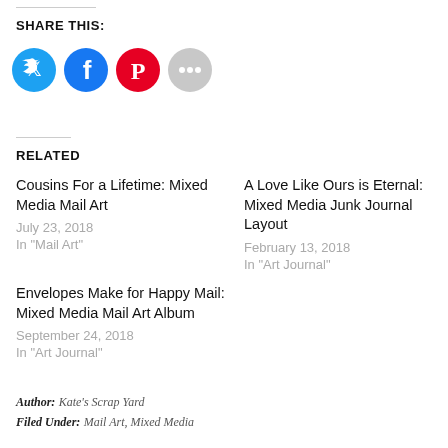SHARE THIS:
[Figure (infographic): Social share buttons: Twitter (blue), Facebook (blue), Pinterest (red), and a grey more button]
RELATED
Cousins For a Lifetime: Mixed Media Mail Art
July 23, 2018
In "Mail Art"
A Love Like Ours is Eternal: Mixed Media Junk Journal Layout
February 13, 2018
In "Art Journal"
Envelopes Make for Happy Mail: Mixed Media Mail Art Album
September 24, 2018
In "Art Journal"
Author: Kate's Scrap Yard
Filed Under: Mail Art, Mixed Media